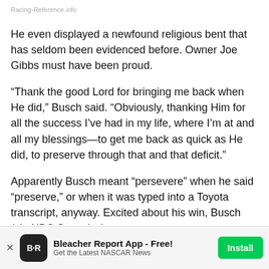Racing-Reference.info
He even displayed a newfound religious bent that has seldom been evidenced before. Owner Joe Gibbs must have been proud.
“Thank the good Lord for bringing me back when He did,” Busch said. “Obviously, thanking Him for all the success I’ve had in my life, where I’m at and all my blessings—to get me back as quick as He did, to preserve through that and that deficit.”
Apparently Busch meant “persevere” when he said “preserve,” or when it was typed into a Toyota transcript, anyway. Excited about his win, Busch (via NBC Sports) also
Bleacher Report App - Free! Get the Latest NASCAR News  Install